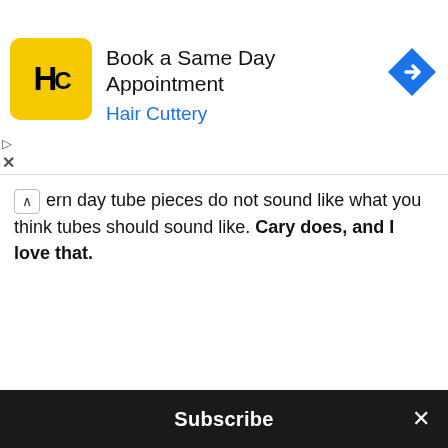[Figure (screenshot): Hair Cuttery advertisement banner with yellow logo featuring 'HC' text, title 'Book a Same Day Appointment', subtitle 'Hair Cuttery' in blue, and a blue navigation arrow icon on the right]
ern day tube pieces do not sound like what you think tubes should sound like. Cary does, and I love that.
[Figure (photo): Photo of a Cary Audio amplifier/receiver with blue illuminated display panels and a large volume knob on the right, placed on a surface with a window and trees visible in the background]
Subscribe ×